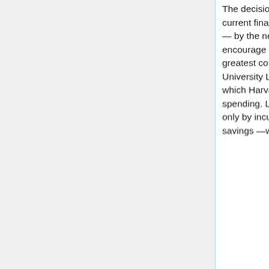The decision to eliminate these journals was...driven not only by current financial realities, but also —and perhaps more importantly — by the need to reassert control over our collections and to encourage new models for research publication at Harvard....Of greatest concern to the Digital Acquisitions Committee and to the University Library Council was the lack of any [Elsevier] option by which Harvard could prune its holdings and reduce its level of spending. Libraries wishing to cancel subscriptions could do so, but only by incurring steeply increased fees that obliterate any potential savings —while